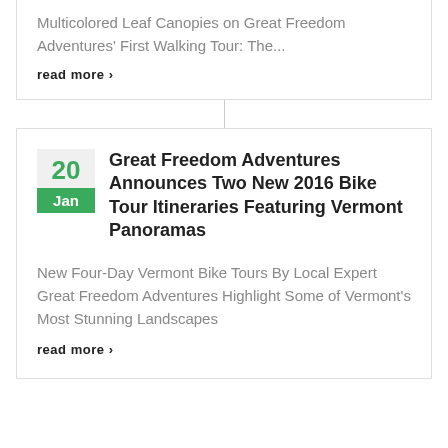Multicolored Leaf Canopies on Great Freedom Adventures' First Walking Tour: The...
read more ›
Great Freedom Adventures Announces Two New 2016 Bike Tour Itineraries Featuring Vermont Panoramas
New Four-Day Vermont Bike Tours By Local Expert Great Freedom Adventures Highlight Some of Vermont's Most Stunning Landscapes
read more ›